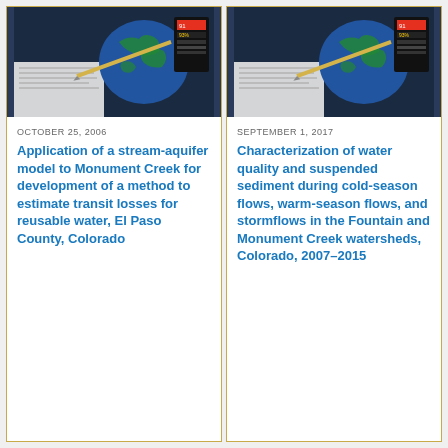[Figure (photo): Photo of USGS report cover showing globe and documents]
OCTOBER 25, 2006
Application of a stream-aquifer model to Monument Creek for development of a method to estimate transit losses for reusable water, El Paso County, Colorado
[Figure (photo): Photo of USGS report cover showing globe and documents]
SEPTEMBER 1, 2017
Characterization of water quality and suspended sediment during cold-season flows, warm-season flows, and stormflows in the Fountain and Monument Creek watersheds, Colorado, 2007–2015